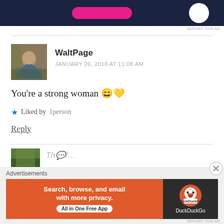[Figure (screenshot): Top portion of an advertisement banner with dark navy background, pink button, and white circle]
REPORT THIS AD
WaltPage
JANUARY 26, 2018 AT 11:08 AM
You're a strong woman 😄💛
★ Liked by 1person
Reply
[Figure (photo): Partial avatar photo showing greenery, next comment preview]
Advertisements
[Figure (screenshot): DuckDuckGo advertisement banner: Search, browse, and email with more privacy. All in One Free App]
REPORT THIS AD